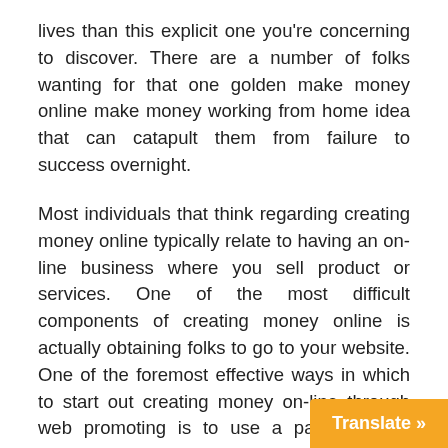lives than this explicit one you're concerning to discover. There are a number of folks wanting for that one golden make money online make money working from home idea that can catapult them from failure to success overnight.
Most individuals that think regarding creating money online typically relate to having an on-line business where you sell product or services. One of the most difficult components of creating money online is actually obtaining folks to go to your website. One of the foremost effective ways in which to start out creating money on-line through web promoting is to use a pay per click advertising.
While there are many ways to create cash on-line, net publishing is another of the most widespread on-line businesses thanks to its suitability to the internet as a least expensive on-line publicatio...